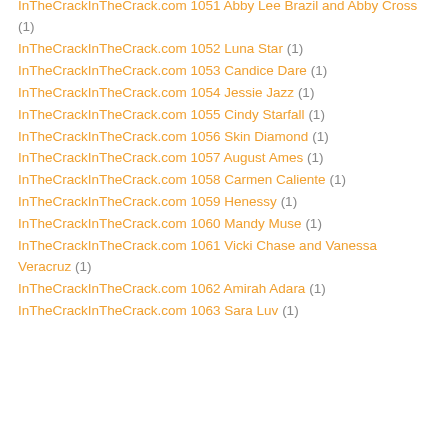InTheCrackInTheCrack.com 1051 Abby Lee Brazil and Abby Cross (1)
InTheCrackInTheCrack.com 1052 Luna Star (1)
InTheCrackInTheCrack.com 1053 Candice Dare (1)
InTheCrackInTheCrack.com 1054 Jessie Jazz (1)
InTheCrackInTheCrack.com 1055 Cindy Starfall (1)
InTheCrackInTheCrack.com 1056 Skin Diamond (1)
InTheCrackInTheCrack.com 1057 August Ames (1)
InTheCrackInTheCrack.com 1058 Carmen Caliente (1)
InTheCrackInTheCrack.com 1059 Henessy (1)
InTheCrackInTheCrack.com 1060 Mandy Muse (1)
InTheCrackInTheCrack.com 1061 Vicki Chase and Vanessa Veracruz (1)
InTheCrackInTheCrack.com 1062 Amirah Adara (1)
InTheCrackInTheCrack.com 1063 Sara Luv (1)